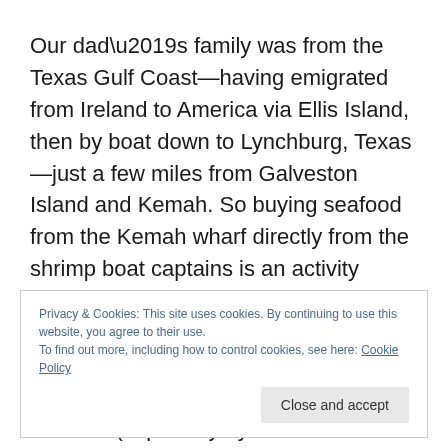Our dad’s family was from the Texas Gulf Coast—having emigrated from Ireland to America via Ellis Island, then by boat down to Lynchburg, Texas—just a few miles from Galveston Island and Kemah. So buying seafood from the Kemah wharf directly from the shrimp boat captains is an activity we’ve enjoyed for over 150 years! The Fluffys know our seafood! And we wait impatiently for the “proper months” to consume it. In the old days we only ate shellfish (especially oysters and mollusks) during months
Privacy & Cookies: This site uses cookies. By continuing to use this website, you agree to their use.
To find out more, including how to control cookies, see here: Cookie Policy